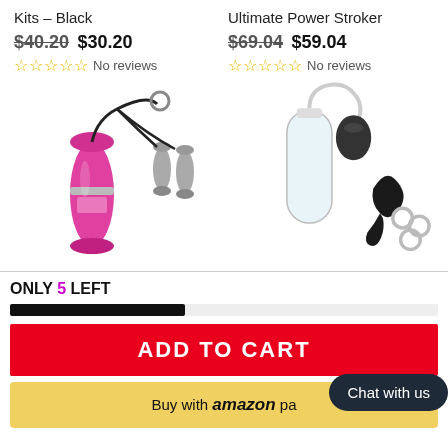Kits - Black
Ultimate Power Stroker
$40.20 $30.20
$69.04 $59.04
No reviews
No reviews
[Figure (photo): Pink bullet vibrator with two silver bullet attachments connected by black cord]
[Figure (photo): Clear cylinder pump with black bulb, black prostate massager, and three cock rings]
ONLY 5 LEFT
ADD TO CART
Buy with amazon pay
Chat with us